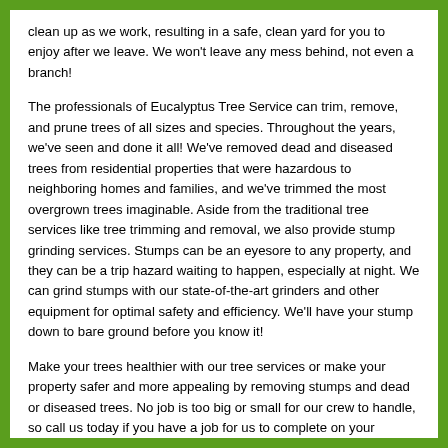clean up as we work, resulting in a safe, clean yard for you to enjoy after we leave. We won't leave any mess behind, not even a branch!
The professionals of Eucalyptus Tree Service can trim, remove, and prune trees of all sizes and species. Throughout the years, we've seen and done it all! We've removed dead and diseased trees from residential properties that were hazardous to neighboring homes and families, and we've trimmed the most overgrown trees imaginable. Aside from the traditional tree services like tree trimming and removal, we also provide stump grinding services. Stumps can be an eyesore to any property, and they can be a trip hazard waiting to happen, especially at night. We can grind stumps with our state-of-the-art grinders and other equipment for optimal safety and efficiency. We'll have your stump down to bare ground before you know it!
Make your trees healthier with our tree services or make your property safer and more appealing by removing stumps and dead or diseased trees. No job is too big or small for our crew to handle, so call us today if you have a job for us to complete on your residential, commercial, or ranch property in Texas. We also provide lot clearing services!